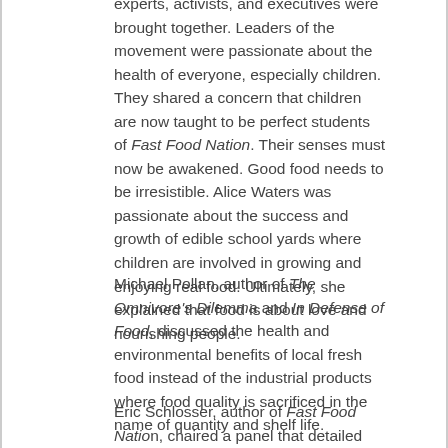experts, activists, and executives were brought together. Leaders of the movement were passionate about the health of everyone, especially children. They shared a concern that children are now taught to be perfect students of Fast Food Nation. Their senses must now be awakened. Good food needs to be irresistible. Alice Waters was passionate about the success and growth of edible school yards where children are involved in growing and enjoying real food. Ultimately, she explained that food is about love and nourishing people.
Michael Pollan, author of The Omnivore's Dilemma and In Defense of Food, discussed the health and environmental benefits of local fresh food instead of the industrial products where food quality is sacrificed in the name of quantity and shelf life.
Eric Schlosser, author of Fast Food Nation, chaired a panel that detailed how many farm